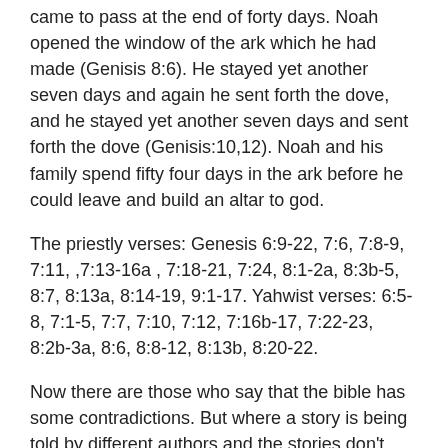came to pass at the end of forty days. Noah opened the window of the ark which he had made (Genisis 8:6). He stayed yet another seven days and again he sent forth the dove, and he stayed yet another seven days and sent forth the dove (Genisis:10,12). Noah and his family spend fifty four days in the ark before he could leave and build an altar to god.
The priestly verses: Genesis 6:9-22, 7:6, 7:8-9, 7:11, ,7:13-16a , 7:18-21, 7:24, 8:1-2a, 8:3b-5, 8:7, 8:13a, 8:14-19, 9:1-17. Yahwist verses: 6:5-8, 7:1-5, 7:7, 7:10, 7:12, 7:16b-17, 7:22-23, 8:2b-3a, 8:6, 8:8-12, 8:13b, 8:20-22.
Now there are those who say that the bible has some contradictions. But where a story is being told by different authors and the stories don't match,  it should be clear that like the difference here it is about leaving your ark and not having made the altar and leaving the ark and having made the altar. About having awakened or not. Again I am not